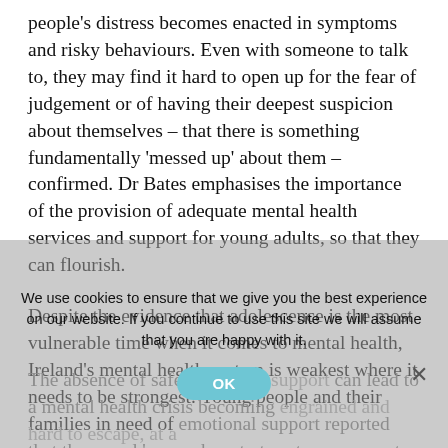people's distress becomes enacted in symptoms and risky behaviours. Even with someone to talk to, they may find it hard to open up for the fear of judgement or of having their deepest suspicion about themselves – that there is something fundamentally 'messed up' about them – confirmed. Dr Bates emphasises the importance of the provision of adequate mental health services and support for young adults, so that they can flourish.
Despite the evidence that adolescence is the most vulnerable time when it comes to mental health, Ireland's mental health system is weakest where it needs to be strongest. Young people and their families in need of emotional support reported that they need 'somewhere to turn to, someone to talk to' but that their options to do so are few and far between.
The absence of safe accessible support can lead to a mental health crisis becoming engrained and hard to escape, at a
We use cookies to ensure that we give you the best experience on our website. If you continue to use this site we will assume that you are happy with it.